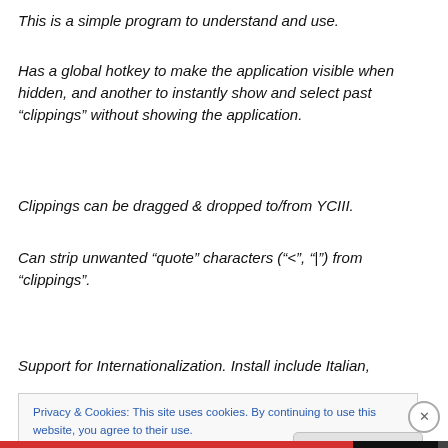This is a simple program to understand and use.
Has a global hotkey to make the application visible when hidden, and another to instantly show and select past “clippings” without showing the application.
Clippings can be dragged & dropped to/from YCIII.
Can strip unwanted “quote” characters (“<”, “|”) from “clippings”.
Support for Internationalization. Install include Italian,
Privacy & Cookies: This site uses cookies. By continuing to use this website, you agree to their use.
To find out more, including how to control cookies, see here: Cookie Policy
Close and accept